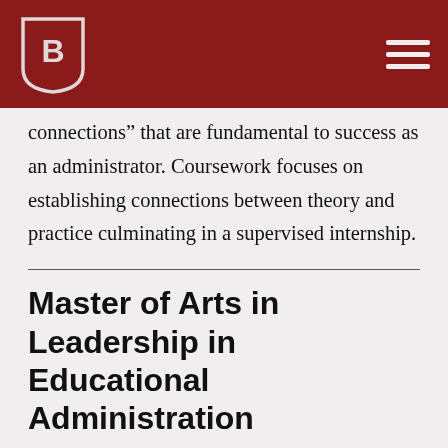Bradley University (logo and navigation)
connections” that are fundamental to success as an administrator. Coursework focuses on establishing connections between theory and practice culminating in a supervised internship.
Master of Arts in Leadership in Educational Administration
The Leadership in Educational Administration Program is a 36-hour program, approved by the Illinois State Board of Education, and satisfying requirements for Illinois Licensure necessary for